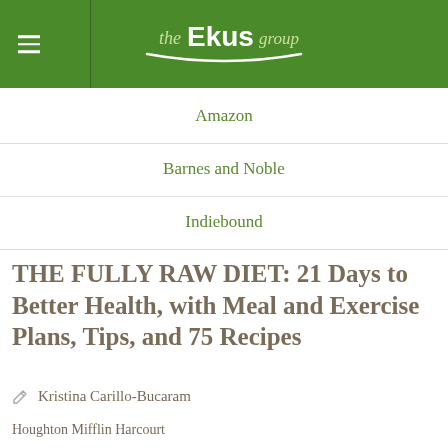the Ekus group
Amazon
Barnes and Noble
Indiebound
THE FULLY RAW DIET: 21 Days to Better Health, with Meal and Exercise Plans, Tips, and 75 Recipes
Kristina Carillo-Bucaram
Houghton Mifflin Harcourt
January 5, 2016
$24.99/Paperback